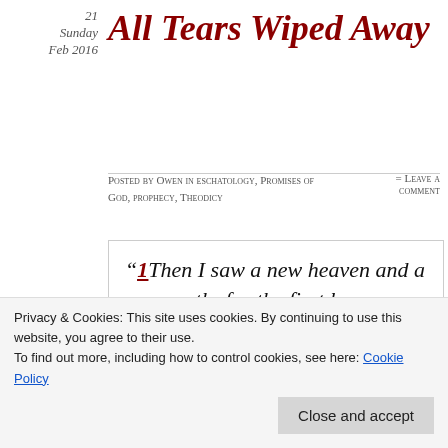21
Sunday
Feb 2016
All Tears Wiped Away
Posted by Owen in eschatology, Promises of God, prophecy, Theodicy
= Leave a comment
Tags
eschatology,
happily ever after, Hope Diamond,
“1Then I saw a new heaven and a new earth; for the first heaven and the first earth passed away, and there is no longer any sea. 2And I saw the holy city, new Jerusalem, coming down out of
Privacy & Cookies: This site uses cookies. By continuing to use this website, you agree to their use.
To find out more, including how to control cookies, see here: Cookie Policy
Close and accept